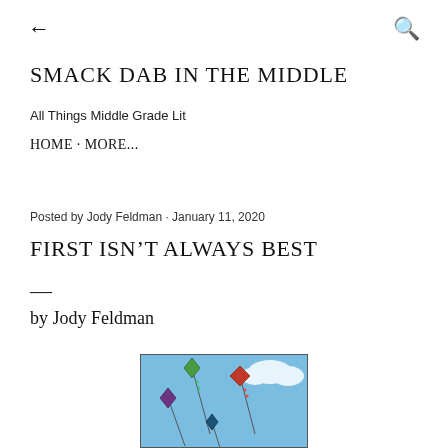← (back arrow)  Q (search)
SMACK DAB IN THE MIDDLE
All Things Middle Grade Lit
HOME · MORE...
Posted by Jody Feldman · January 11, 2020
FIRST ISN'T ALWAYS BEST
—
by Jody Feldman
[Figure (illustration): Illustration of colorful kites flying in a blue sky with white clouds. Multiple kites in green, red, blue, and purple colors on strings against a light blue background.]